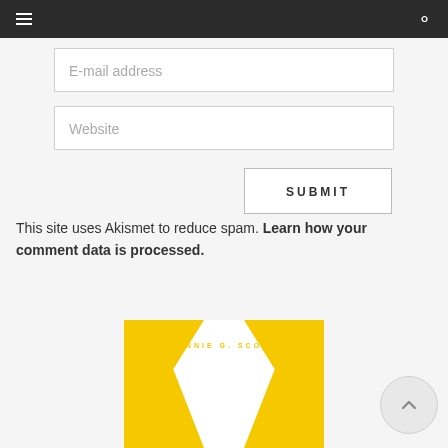Navigation bar with hamburger menu and search icon
E-mail address
Website
SUBMIT
This site uses Akismet to reduce spam. Learn how your comment data is processed.
[Figure (illustration): Book cover with yellow geometric design and author name JENNIE G. SCOTT in yellow text on white/yellow background]